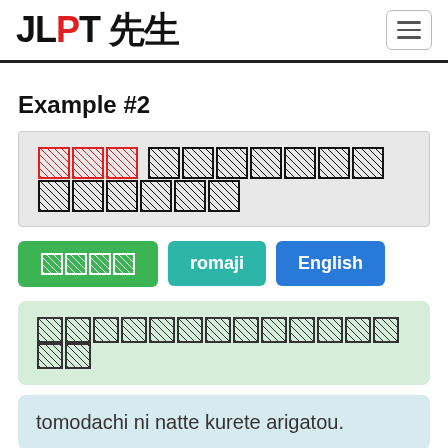JLPT 先生
Example #2
[Japanese sentence with highlighted portion]
ひらがな button
romaji button
English button
[Japanese translation panel - green background]
tomodachi ni natte kurete arigatou.
Thank you for being my friend... (partially visible)